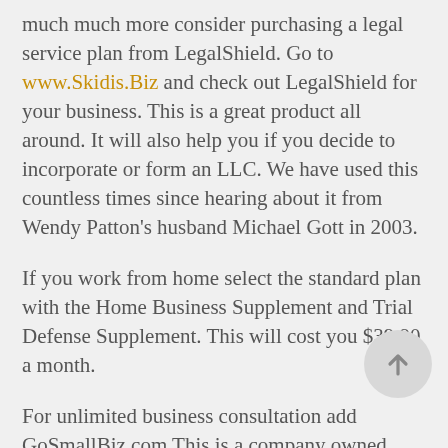much much more consider purchasing a legal service plan from LegalShield. Go to www.Skidis.Biz and check out LegalShield for your business. This is a great product all around. It will also help you if you decide to incorporate or form an LLC. We have used this countless times since hearing about it from Wendy Patton's husband Michael Gott in 2003.
If you work from home select the standard plan with the Home Business Supplement and Trial Defense Supplement. This will cost you $39.90 a month.
For unlimited business consultation add GoSmallBiz.com This is a company owned